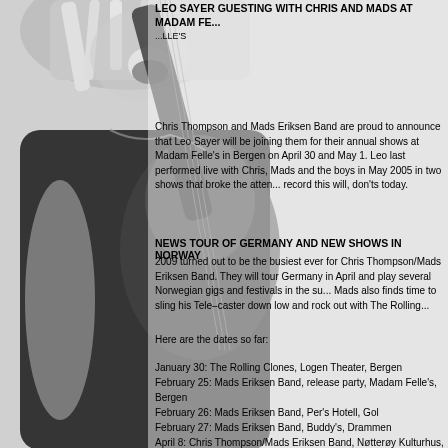[Figure (photo): Black and white photo of a guitarist (Leo Sayer) playing guitar, mouth open, wearing a sleeveless top and necklace, taking up left portion and background of the page.]
LEO SAYER GUESTING WITH CHRIS AND MADS AT MADAM FELLE'S
Chris Thompson and Mads Eriksen Band are proud to announce that Leo Sayer will be joining them for their annual shows at Madam Felle's in Bergen on April 30 and May 1. Leo last performed live with Chris, Mads and the boys in May 2005 in two shows that broke the attendance record this will, don't today.
NEWS TOUR OF GERMANY AND NEW SHOWS IN NORWAY
2009 turned out to be the busiest ever for Chris Thompson/Mads Eriksen Band. They will tour Germany in April and play several Norwegian gigs and festivals in the summer. Mads also finds time to sling his Tele-caster down low and rock out with The Rolling Clones.
Here are the dates so far:
January 30: The Rolling Clones, Logen Theater, Bergen
February 25: Mads Eriksen Band, release party, Madam Felle's, Bergen
February 26: Mads Eriksen Band, Per's Hotell, Gol
February 27: Mads Eriksen Band, Buddy's, Drammen
April 8: Chris Thompson/Mads Eriksen Band, Nøtterøy Kulturhus, Norway
April 9: Chris Thompson/Mads Eriksen Band, Buddy's, Drammen, Norway
April 15: Chris Thompson/Mads Eriksen Band, Rostock Ursprung, Germany
April 16: Chris Thompson/Mads Eriksen Band, Neubrandenburg Guterb...
April 17: Chris Thompson/Mads Eriksen Band, Cunewalde, Germany
April 18: tba (Germany)
April 21: tba (Germany)
April 22: Chris Thompson/Mads Eriksen Band, Hildesheim, Germany
April 23: Chris Thompson/Mads Eriksen Band, Kroy mehrzweckhalle, G...
April 24: Chris Thompson/Mads Eriksen Band, Heidenheim, Germany
April 30 and May 1: Chris Thompson/Mads Eriksen Band, ...